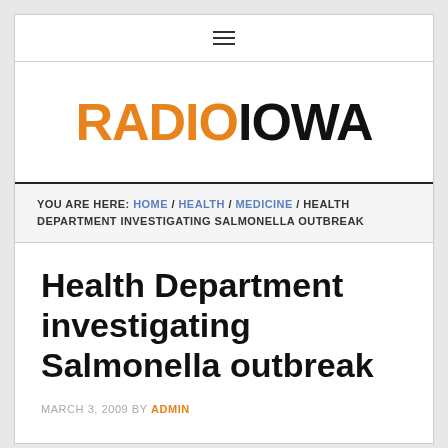≡ (hamburger menu icon)
[Figure (logo): Radio Iowa logo with RADIO in orange and IOWA in black bold text]
YOU ARE HERE: HOME / HEALTH / MEDICINE / HEALTH DEPARTMENT INVESTIGATING SALMONELLA OUTBREAK
Health Department investigating Salmonella outbreak
MARCH 3, 2009 BY ADMIN